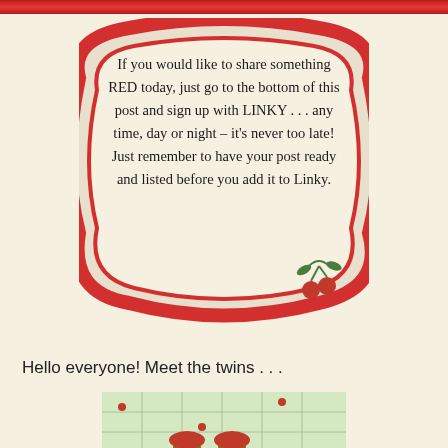[Figure (illustration): Red decorative banner strip at the top of the page]
[Figure (illustration): Decorative card with a red ornate border frame containing script text about sharing something RED and using LINKY, with a cherry illustration in bottom right corner]
Hello everyone! Meet the twins . . .
[Figure (photo): Photo showing two small mushroom-shaped cakes or cookies on a cherry-patterned tablecloth]